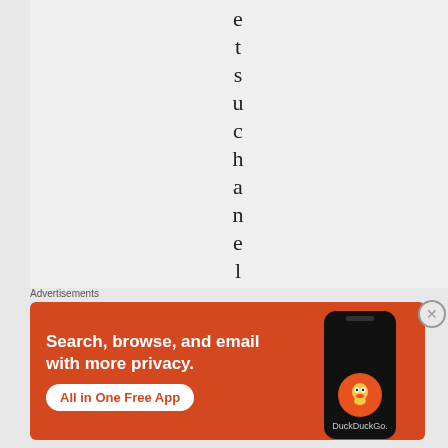e t s u c h a n e l o
Advertisements
[Figure (illustration): DuckDuckGo advertisement banner with orange background showing text 'Search, browse, and email with more privacy. All in One Free App' with a phone displaying the DuckDuckGo logo]